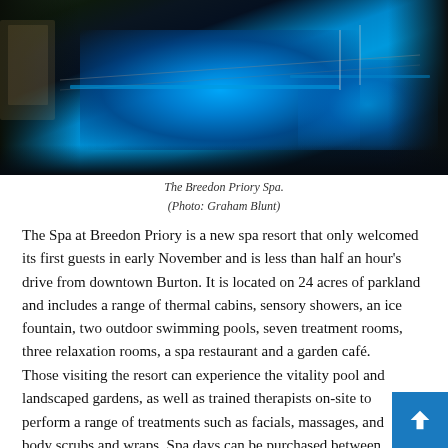[Figure (photo): Night-time photo of The Breedon Priory Spa showing illuminated blue outdoor swimming pools with dark surroundings]
The Breedon Priory Spa.
(Photo: Graham Blunt)
The Spa at Breedon Priory is a new spa resort that only welcomed its first guests in early November and is less than half an hour's drive from downtown Burton. It is located on 24 acres of parkland and includes a range of thermal cabins, sensory showers, an ice fountain, two outdoor swimming pools, seven treatment rooms, three relaxation rooms, a spa restaurant and a garden café.
Those visiting the resort can experience the vitality pool and landscaped gardens, as well as trained therapists on-site to perform a range of treatments such as facials, massages, and body scrubs and wraps. Spa days can be purchased between £65